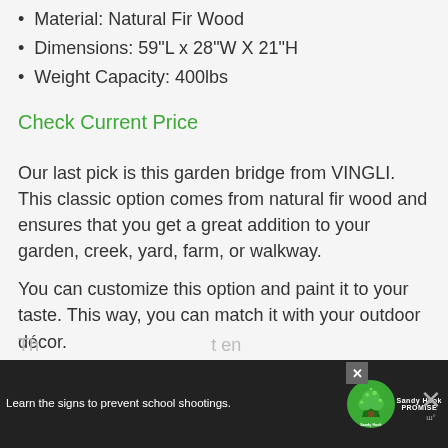Material: Natural Fir Wood
Dimensions: 59"L x 28"W X 21"H
Weight Capacity: 400lbs
Check Current Price
Our last pick is this garden bridge from VINGLI. This classic option comes from natural fir wood and ensures that you get a great addition to your garden, creek, yard, farm, or walkway.
You can customize this option and paint it to your taste. This way, you can match it with your outdoor décor.
[Figure (screenshot): Advertisement banner at bottom: Sandy Hook Promise ad with text 'Learn the signs to prevent school shootings.' with tree logo, close button, and dismiss X button on the right.]